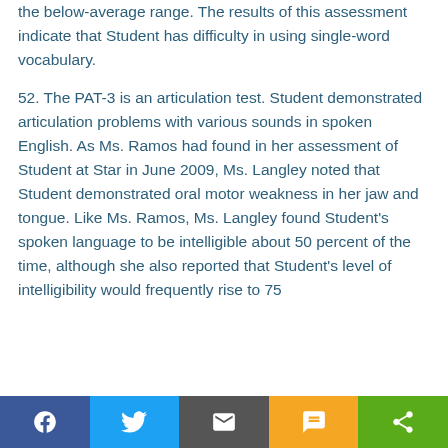the below-average range. The results of this assessment indicate that Student has difficulty in using single-word vocabulary.
52. The PAT-3 is an articulation test. Student demonstrated articulation problems with various sounds in spoken English. As Ms. Ramos had found in her assessment of Student at Star in June 2009, Ms. Langley noted that Student demonstrated oral motor weakness in her jaw and tongue. Like Ms. Ramos, Ms. Langley found Student's spoken language to be intelligible about 50 percent of the time, although she also reported that Student's level of intelligibility would frequently rise to 75